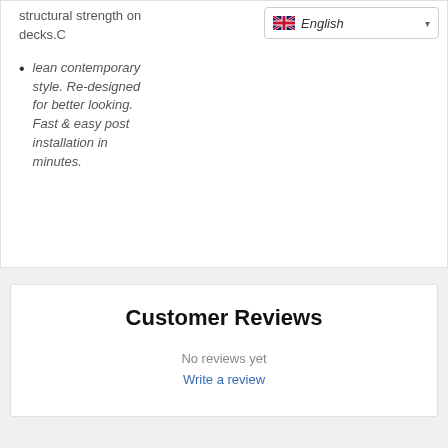structural strength on decks.C
lean contemporary style. Re-designed for better looking. Fast & easy post installation in minutes.
Customer Reviews
No reviews yet
Write a review